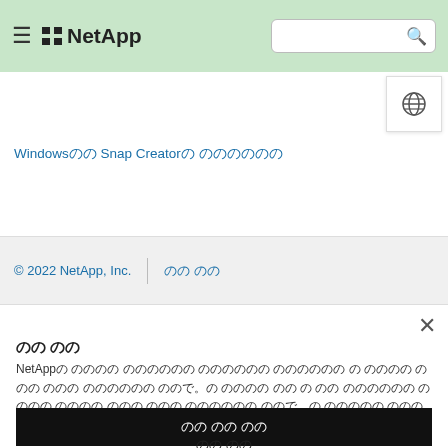NetApp (hamburger menu, logo, search bar, globe icon)
Windowsのの Snap Creatorの のののののの
© 2022 NetApp, Inc. | のの のの
のの のの
NetAppの のののの のののののの のののののの のののののの の のののの ののの ののの のののののの のののの。の のののの のの の のの のののののの のののの のののの ののの ののの のののののの のので。の ののののの ののの ののの ののののの の の ののの ののののの のので。
のの のの のの
のの のの